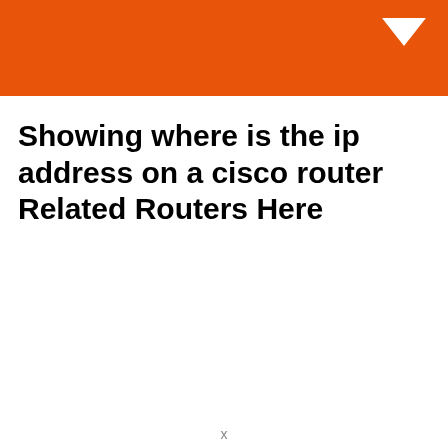Showing where is the ip address on a cisco router Related Routers Here